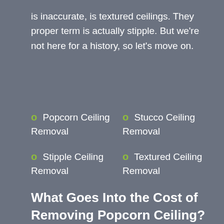is inaccurate, is textured ceilings. They proper term is actually stipple. But we're not here for a history, so let's move on.
Popcorn Ceiling Removal
Stucco Ceiling Removal
Stipple Ceiling Removal
Textured Ceiling Removal
What Goes Into the Cost of Removing Popcorn Ceiling?